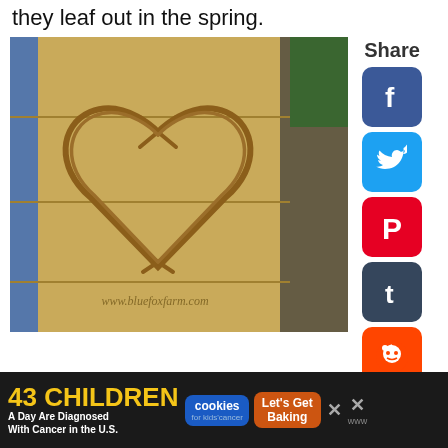they leaf out in the spring.
[Figure (photo): A heart shape made from woven willow or wicker branches, mounted on a wooden plank wall. Watermark reads www.bluefoxfarm.com. A blue post and dark plastic sheeting are visible on the sides, with green foliage in the background.]
Share
[Figure (infographic): Social share buttons column: Facebook (blue), Twitter (light blue), Pinterest (red), Tumblr (dark blue), Reddit (orange-red), green heart/save button with counter badge showing 1, and a circular share-more button.]
[Figure (infographic): Advertisement banner at the bottom: black background with '43 CHILDREN A Day Are Diagnosed With Cancer in the U.S.' in yellow and white text, cookies for kids' cancer logo, 'Let's Get Baking' orange box, close X buttons.]